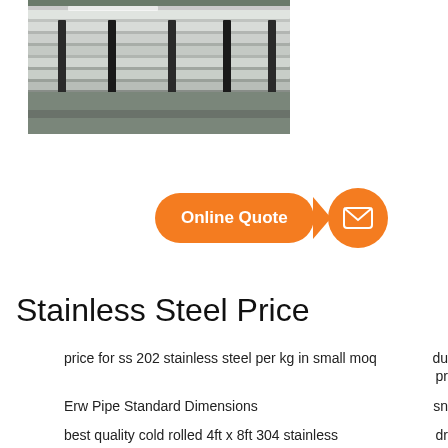[Figure (photo): Stack of stainless steel sheets photographed from the side, showing layered metallic sheets in a warehouse or storage setting.]
[Figure (infographic): Orange 'Online Quote' button with arrow pointing to an orange circle containing a white envelope/email icon.]
Stainless Steel Price
price for ss 202 stainless steel per kg in small moq
Erw Pipe Standard Dimensions
best quality cold rolled 4ft x 8ft 304 stainless